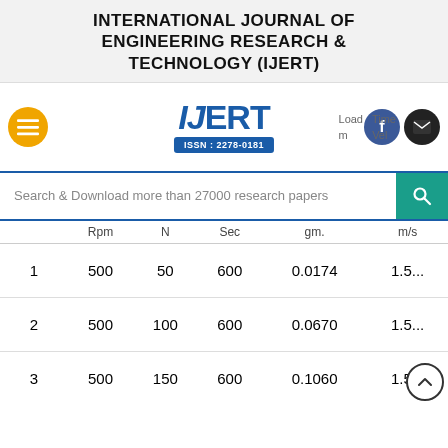INTERNATIONAL JOURNAL OF ENGINEERING RESEARCH & TECHNOLOGY (IJERT)
[Figure (logo): IJERT logo with ISSN: 2278-0181, hamburger menu button, Facebook and email social icons, and search bar]
|  | Rpm | N | Sec | gm. | m/s |
| --- | --- | --- | --- | --- | --- |
| 1 | 500 | 50 | 600 | 0.0174 | 1.5... |
| 2 | 500 | 100 | 600 | 0.0670 | 1.5... |
| 3 | 500 | 150 | 600 | 0.1060 | 1.5... |